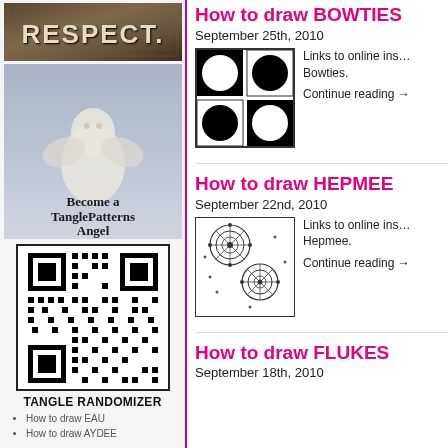[Figure (photo): RESPECT text on textured background]
[Figure (photo): Angel cherub figurine with text 'Become a TanglePatterns Angel']
[Figure (other): QR code for Tangle Randomizer]
TANGLE RANDOMIZER
How to draw EAU
How to draw AYDEE
How to draw BOWTIES
September 25th, 2010
[Figure (photo): Black and white geometric bowtie tangle pattern thumbnail]
Links to online instructions for Bowties.
Continue reading →
How to draw HEPMEE
September 22nd, 2010
[Figure (photo): Hepmee tangle pattern thumbnail showing spiderweb-like patterns]
Links to online instructions for Hepmee.
Continue reading →
How to draw FLUKES
September 18th, 2010